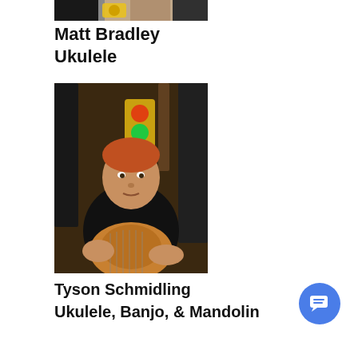[Figure (photo): Cropped photo at top, partially visible, of Matt Bradley]
Matt Bradley
Ukulele
[Figure (photo): Photo of Tyson Schmidling, a man with reddish hair wearing a black shirt and holding a guitar, surrounded by guitars on a wall, with a traffic light visible in the background]
Tyson Schmidling
Ukulele, Banjo, & Mandolin